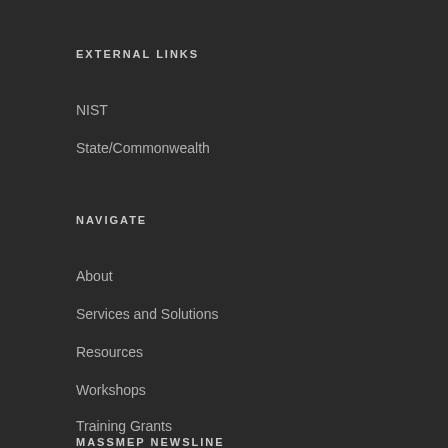EXTERNAL LINKS
NIST
State/Commonwealth
NAVIGATE
About
Services and Solutions
Resources
Workshops
Training Grants
MASSMEP NEWSLINE